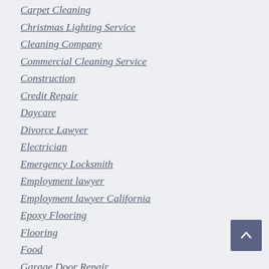Carpet Cleaning
Christmas Lighting Service
Cleaning Company
Commercial Cleaning Service
Construction
Credit Repair
Daycare
Divorce Lawyer
Electrician
Emergency Locksmith
Employment lawyer
Employment lawyer California
Epoxy Flooring
Flooring
Food
Garage Door Repair
Garage Door Repair near me